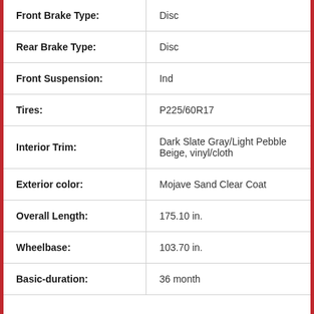| Attribute | Value |
| --- | --- |
| Front Brake Type: | Disc |
| Rear Brake Type: | Disc |
| Front Suspension: | Ind |
| Tires: | P225/60R17 |
| Interior Trim: | Dark Slate Gray/Light Pebble Beige, vinyl/cloth |
| Exterior color: | Mojave Sand Clear Coat |
| Overall Length: | 175.10 in. |
| Wheelbase: | 103.70 in. |
| Basic-duration: | 36 month |